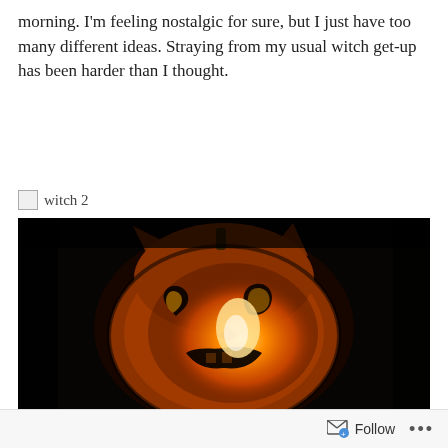morning. I'm feeling nostalgic for sure, but I just have too many different ideas. Straying from my usual witch get-up has been harder than I thought.
[Figure (other): Broken image placeholder labeled 'witch 2']
[Figure (photo): A glowing Halloween jack-o'-lantern carved in the shape of a cat face with orange light emanating from the eyes and mouth, photographed in darkness.]
Follow ...